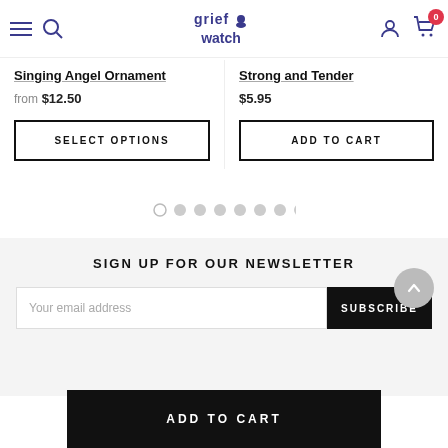grief watch — navigation header with hamburger, search, logo, user icon, cart (0)
Singing Angel Ornament
from $12.50
SELECT OPTIONS
Strong and Tender
$5.95
ADD TO CART
SIGN UP FOR OUR NEWSLETTER
Your email address
SUBSCRIBE
GET IN TOUCH
ADD TO CART